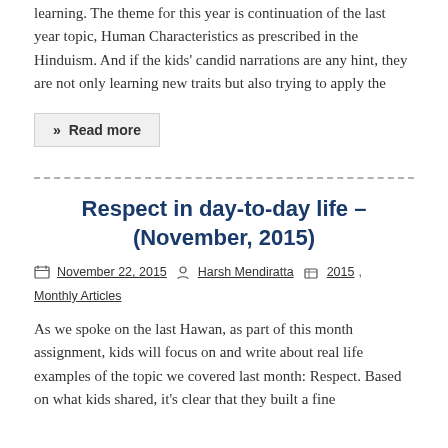learning. The theme for this year is continuation of the last year topic, Human Characteristics as prescribed in the Hinduism. And if the kids' candid narrations are any hint, they are not only learning new traits but also trying to apply the
» Read more
Respect in day-to-day life – (November, 2015)
November 22, 2015   Harsh Mendiratta   2015, Monthly Articles
As we spoke on the last Hawan, as part of this month assignment, kids will focus on and write about real life examples of the topic we covered last month: Respect. Based on what kids shared, it's clear that they built a fine